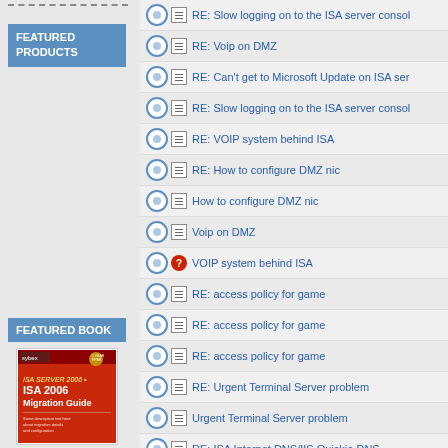FEATURED PRODUCTS
RE: Slow logging on to the ISA server consol
RE: Voip on DMZ
RE: Can't get to Microsoft Update on ISA ser
RE: Slow logging on to the ISA server consol
RE: VOIP system behind ISA
RE: How to configure DMZ nic
How to configure DMZ nic
Voip on DMZ
VOIP system behind ISA
RE: access policy for game
RE: access policy for game
RE: access policy for game
RE: Urgent Terminal Server problem
Urgent Terminal Server problem
RE: ISA Internet DNS/IIS Quickie DNS
FEATURED BOOK
[Figure (photo): Book cover: ISA 2006 Migration Guide]